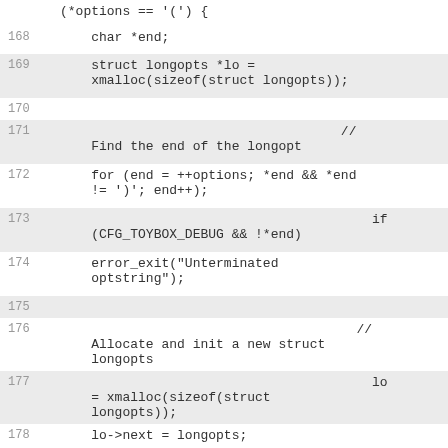(*options == '(') {
168    char *end;
169    struct longopts *lo = xmalloc(sizeof(struct longopts));
170
171    // Find the end of the longopt
172    for (end = ++options; *end && *end != ')'; end++);
173    if (CFG_TOYBOX_DEBUG && !*end)
174    error_exit("Unterminated optstring");
175
176    // Allocate and init a new struct longopts
177    lo = xmalloc(sizeof(struct longopts));
178    lo->next = longopts;
179    lo->opt = gof.this;
180    lo->str = options;